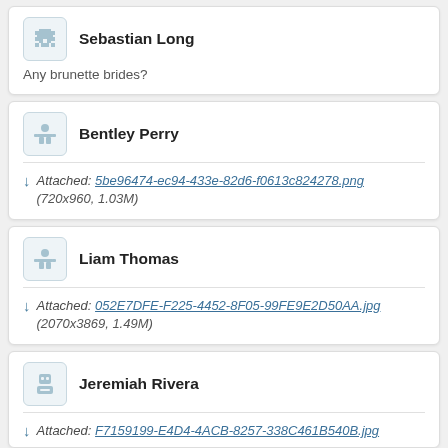Sebastian Long
Any brunette brides?
Bentley Perry
Attached: 5be96474-ec94-433e-82d6-f0613c824278.png (720x960, 1.03M)
Liam Thomas
Attached: 052E7DFE-F225-4452-8F05-99FE9E2D50AA.jpg (2070x3869, 1.49M)
Jeremiah Rivera
Attached: F7159199-E4D4-4ACB-8257-338C461B540B.jpg